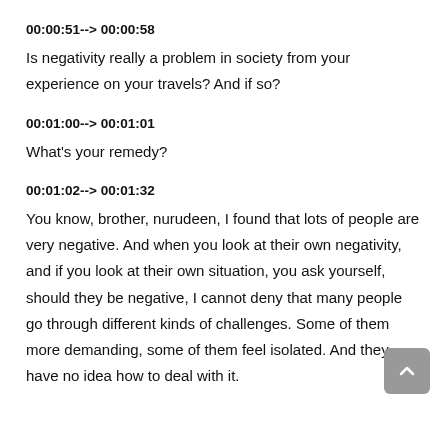00:00:51--> 00:00:58
Is negativity really a problem in society from your experience on your travels? And if so?
00:01:00--> 00:01:01
What's your remedy?
00:01:02--> 00:01:32
You know, brother, nurudeen, I found that lots of people are very negative. And when you look at their own negativity, and if you look at their own situation, you ask yourself, should they be negative, I cannot deny that many people go through different kinds of challenges. Some of them more demanding, some of them feel isolated. And they have no idea how to deal with it.